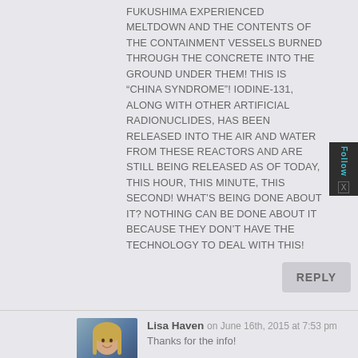FUKUSHIMA EXPERIENCED MELTDOWN AND THE CONTENTS OF THE CONTAINMENT VESSELS BURNED THROUGH THE CONCRETE INTO THE GROUND UNDER THEM! THIS IS “CHINA SYNDROME”! IODINE-131, ALONG WITH OTHER ARTIFICIAL RADIONUCLIDES, HAS BEEN RELEASED INTO THE AIR AND WATER FROM THESE REACTORS AND ARE STILL BEING RELEASED AS OF TODAY, THIS HOUR, THIS MINUTE, THIS SECOND! WHAT’S BEING DONE ABOUT IT? NOTHING CAN BE DONE ABOUT IT BECAUSE THEY DON’T HAVE THE TECHNOLOGY TO DEAL WITH THIS!
REPLY
[Figure (photo): Avatar photo of Lisa Haven, a woman with long blonde hair smiling]
Lisa Haven on June 16th, 2015 at 7:53 pm
Thanks for the info!